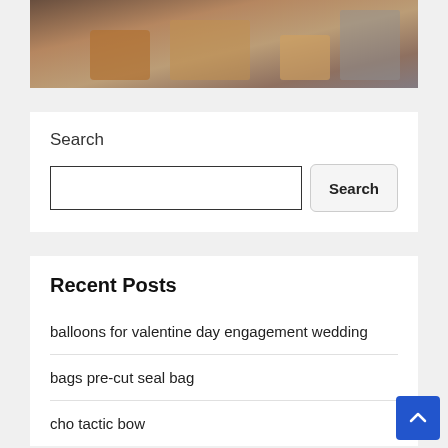[Figure (photo): Furniture room scene with chairs and wooden table on a rug]
Search
Search input box and Search button
Recent Posts
balloons for valentine day engagement wedding
bags pre-cut seal bag
cho tactic bow